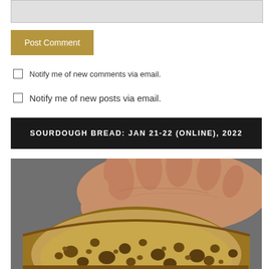[Figure (screenshot): Gray input text area (comment box, top portion)]
Post Comment
Notify me of new comments via email.
Notify me of new posts via email.
SOURDOUGH BREAD: JAN 21-22 (ONLINE), 2022
[Figure (photo): Close-up photo of a person's hand resting on top of a round loaf of sourdough bread sliced in half, showing the open crumb structure with many holes, against a gray fabric background.]